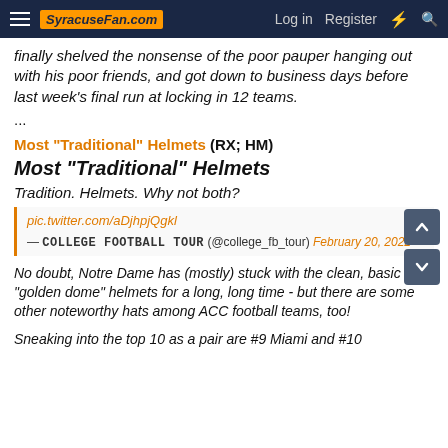SyracuseFan.com — Log in  Register
finally shelved the nonsense of the poor pauper hanging out with his poor friends, and got down to business days before last week's final run at locking in 12 teams.
...
Most "Traditional" Helmets (RX; HM)
Most "Traditional" Helmets
Tradition. Helmets. Why not both?
pic.twitter.com/aDjhpjQgkl
— COLLEGE FOOTBALL TOUR (@college_fb_tour) February 20, 2022
No doubt, Notre Dame has (mostly) stuck with the clean, basic "golden dome" helmets for a long, long time - but there are some other noteworthy hats among ACC football teams, too!
Sneaking into the top 10 as a pair are #9 Miami and #10